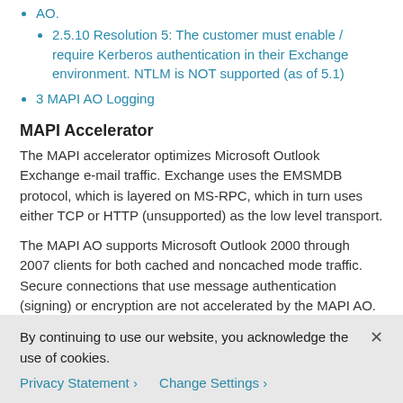AO.
2.5.10 Resolution 5: The customer must enable / require Kerberos authentication in their Exchange environment. NTLM is NOT supported (as of 5.1)
3 MAPI AO Logging
MAPI Accelerator
The MAPI accelerator optimizes Microsoft Outlook Exchange e-mail traffic. Exchange uses the EMSMDB protocol, which is layered on MS-RPC, which in turn uses either TCP or HTTP (unsupported) as the low level transport.
The MAPI AO supports Microsoft Outlook 2000 through 2007 clients for both cached and noncached mode traffic. Secure connections that use message authentication (signing) or encryption are not accelerated by the MAPI AO. Such connections and connections from older clients are
By continuing to use our website, you acknowledge the use of cookies.
Privacy Statement > Change Settings >